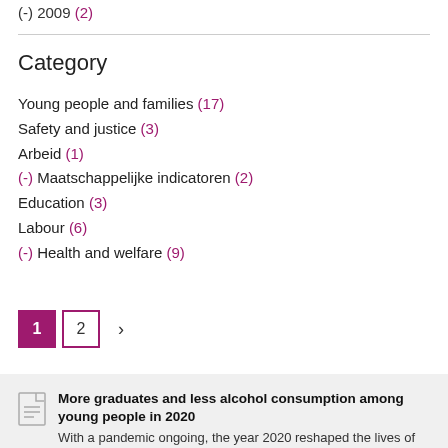(-) 2009 (2)
Category
Young people and families (17)
Safety and justice (3)
Arbeid (1)
(-) Maatschappelijke indicatoren (2)
Education (3)
Labour (6)
(-) Health and welfare (9)
Pagination: 1 2 >
More graduates and less alcohol consumption among young people in 2020. With a pandemic ongoing, the year 2020 reshaped the lives of young people in the Netherlands. In